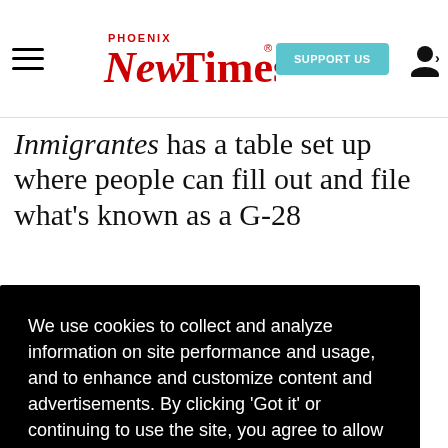Phoenix New Times — SUPPORT US — user menu
Inmigrantes has a table set up where people can fill out and file what's known as a G-28
ation, work t- ne essed , y to o file this form with him. He s friendly, He remembers
We use cookies to collect and analyze information on site performance and usage, and to enhance and customize content and advertisements. By clicking 'Got it' or continuing to use the site, you agree to allow cookies to be placed. To find out more, visit our cookies policy and our privacy policy.
Got it!